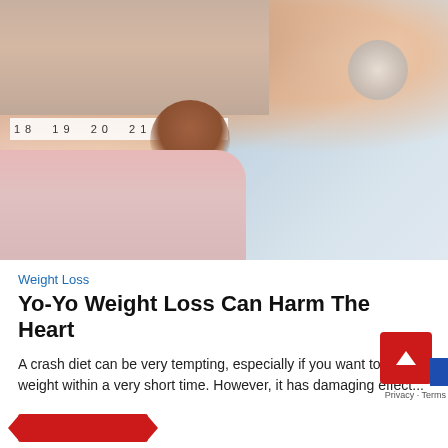[Figure (photo): Close-up photo of a person measuring their waist with a tape measure showing numbers 18-22+. Person is wearing a grey top and pink shorts/skirt. Background shows a blurred bathroom setting.]
Weight Loss
Yo-Yo Weight Loss Can Harm The Heart
A crash diet can be very tempting, especially if you want to shed weight within a very short time. However, it has damaging effect...